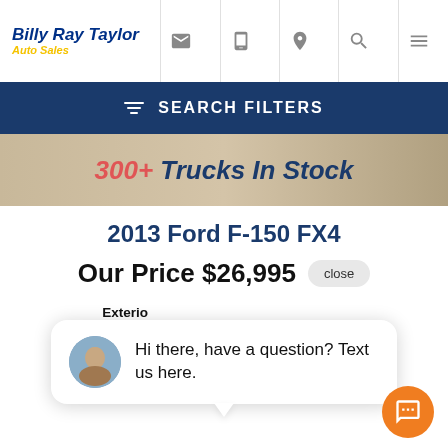Billy Ray Taylor Auto Sales
SEARCH FILTERS
[Figure (photo): Banner image with text: 300+ Trucks In Stock]
2013 Ford F-150 FX4
Our Price $26,995
Hi there, have a question? Text us here.
| Drivetrain: | 4x4 |
| Mileage: | 132,922 |
| City / Hwy: | 14 / 19 |
| VIN: | 1FTFW1EF0DKE97850 |
| Stock: | ST2241 |